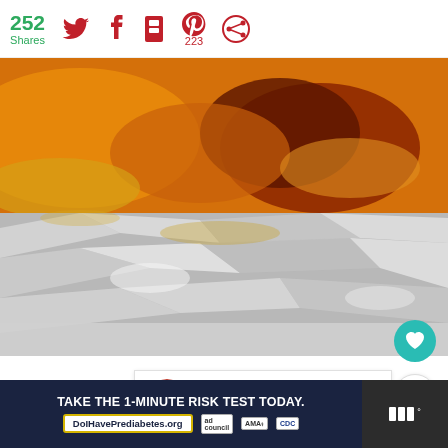252 Shares
[Figure (photo): Close-up photo of cooked meat (appears to be baked/grilled chicken or pork) on aluminum foil, with golden-brown spiced crust, orange-tinted meat visible, foil crinkled on wooden surface]
WHAT'S NEXT → Healthier Baked...
TAKE THE 1-MINUTE RISK TEST TODAY. DolHavePrediabetes.org